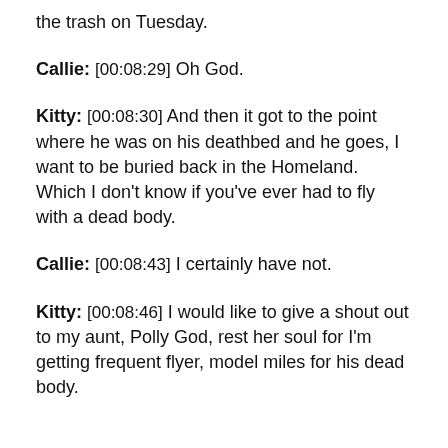the trash on Tuesday.
Callie: [00:08:29] Oh God.
Kitty: [00:08:30] And then it got to the point where he was on his deathbed and he goes, I want to be buried back in the Homeland. Which I don't know if you've ever had to fly with a dead body.
Callie: [00:08:43] I certainly have not.
Kitty: [00:08:46] I would like to give a shout out to my aunt, Polly God, rest her soul for I'm getting frequent flyer, model miles for his dead body.